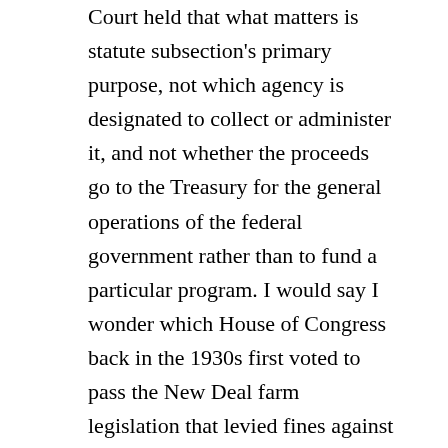Court held that what matters is statute subsection's primary purpose, not which agency is designated to collect or administer it, and not whether the proceeds go to the Treasury for the general operations of the federal government rather than to fund a particular program.  I would say I wonder which House of Congress back in the 1930s first voted to pass the New Deal farm legislation that levied fines against farmers who did not comply with that law's planting/no-planting requirements, but really I don't wonder.  Because it doesn't matter.  It might if the origination clause said, “All bills raising revenue shall originate in the House of Representatives.”  But it doesn't.
Although maybe ellipses could be inserted by the